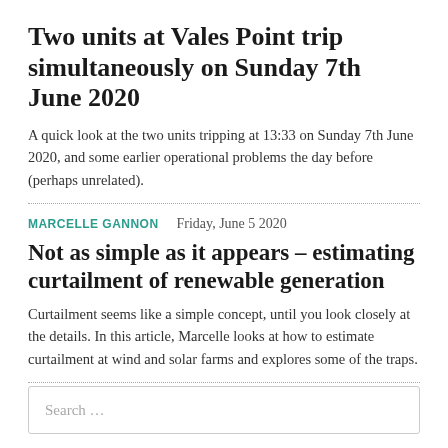Two units at Vales Point trip simultaneously on Sunday 7th June 2020
A quick look at the two units tripping at 13:33 on Sunday 7th June 2020, and some earlier operational problems the day before (perhaps unrelated).
MARCELLE GANNON   Friday, June 5 2020
Not as simple as it appears – estimating curtailment of renewable generation
Curtailment seems like a simple concept, until you look closely at the details. In this article, Marcelle looks at how to estimate curtailment at wind and solar farms and explores some of the traps.
Search …